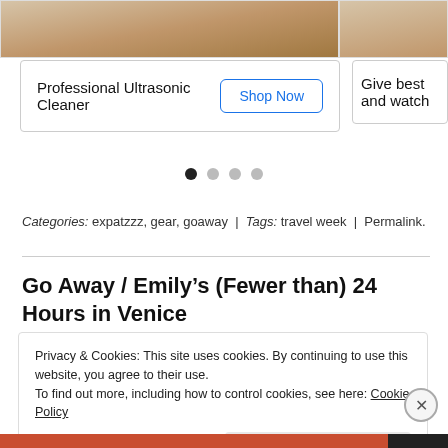[Figure (photo): Top cropped image showing a wooden surface — partial product/scene photo]
Professional Ultrasonic Cleaner
Shop Now
Give best and watch
Categories: expatzzz, gear, goaway | Tags: travel week | Permalink.
Go Away / Emily's (Fewer than) 24 Hours in Venice
Privacy & Cookies: This site uses cookies. By continuing to use this website, you agree to their use.
To find out more, including how to control cookies, see here: Cookie Policy
Close and accept